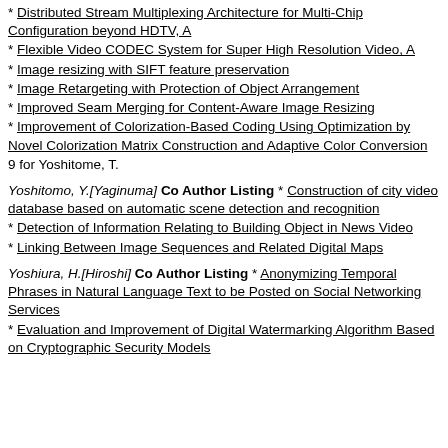* Distributed Stream Multiplexing Architecture for Multi-Chip Configuration beyond HDTV, A
* Flexible Video CODEC System for Super High Resolution Video, A
* Image resizing with SIFT feature preservation
* Image Retargeting with Protection of Object Arrangement
* Improved Seam Merging for Content-Aware Image Resizing
* Improvement of Colorization-Based Coding Using Optimization by Novel Colorization Matrix Construction and Adaptive Color Conversion
9 for Yoshitome, T.
Yoshitomo, Y.[Yaginuma] Co Author Listing * Construction of city video database based on automatic scene detection and recognition
* Detection of Information Relating to Building Object in News Video
* Linking Between Image Sequences and Related Digital Maps
Yoshiura, H.[Hiroshi] Co Author Listing * Anonymizing Temporal Phrases in Natural Language Text to be Posted on Social Networking Services
* Evaluation and Improvement of Digital Watermarking Algorithm Based on Cryptographic Security Models